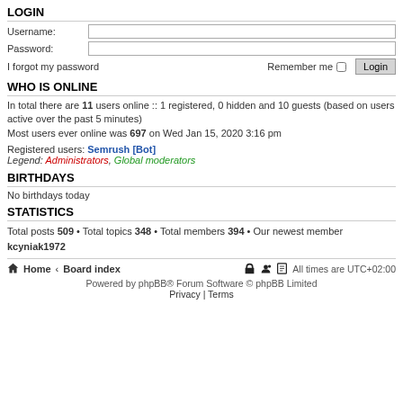LOGIN
Username:
Password:
I forgot my password   Remember me  Login
WHO IS ONLINE
In total there are 11 users online :: 1 registered, 0 hidden and 10 guests (based on users active over the past 5 minutes)
Most users ever online was 697 on Wed Jan 15, 2020 3:16 pm
Registered users: Semrush [Bot]
Legend: Administrators, Global moderators
BIRTHDAYS
No birthdays today
STATISTICS
Total posts 509 • Total topics 348 • Total members 394 • Our newest member kcyniak1972
Home · Board index   All times are UTC+02:00
Powered by phpBB® Forum Software © phpBB Limited
Privacy | Terms